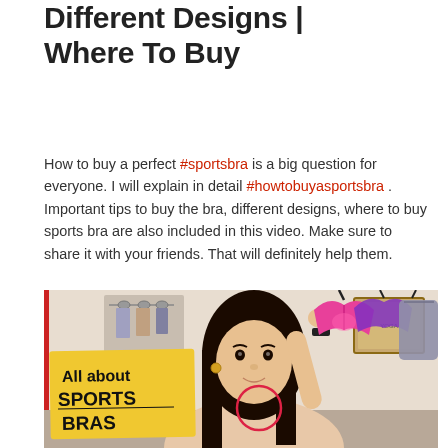Different Designs | Where To Buy
How to buy a perfect #sportsbra is a big question for everyone. I will explain in detail #howtobuyasportsbra . Important tips to buy the bra, different designs, where to buy sports bra are also included in this video. Make sure to share it with your friends. That will definitely help them.
[Figure (photo): A woman holding up colorful sports bras (pink, purple, grey) with a yellow sticky note overlay reading 'All about SPORTS BRAS' in black handwritten text. Red border on the left edge of the image.]